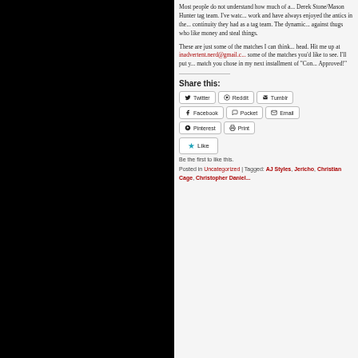Most people do not understand how much of a... Derek Stone/Mason Hunter tag team. I've watched their work and have always enjoyed the antics in the... continuity they had as a tag team. The dynamic... against thugs who like money and steal things.
These are just some of the matches I can think... head. Hit me up at inadvertent.nerd@gmail.c... some of the matches you'd like to see. I'll put y... match you chose in my next installment of "Con... Approved!"
Share this:
Twitter | Reddit | Tumblr | Facebook | Pocket | Email | Pinterest | Print
Like
Be the first to like this.
Posted in Uncategorized | Tagged: AJ Styles, Jericho, Christian Cage, Christopher Daniel...